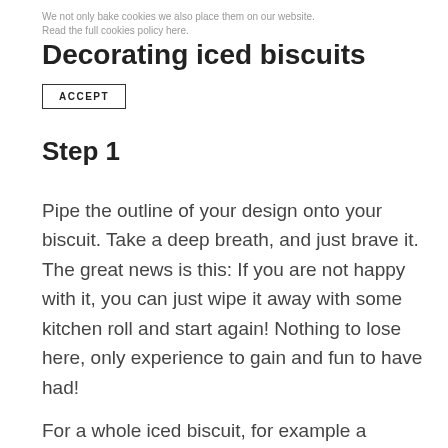We not only bake cookies we also place them on our website. Read the full cookies policy here.
Decorating iced biscuits
ACCEPT
Step 1
Pipe the outline of your design onto your biscuit. Take a deep breath, and just brave it. The great news is this: If you are not happy with it, you can just wipe it away with some kitchen roll and start again! Nothing to lose here, only experience to gain and fun to have had!
For a whole iced biscuit, for example a round...